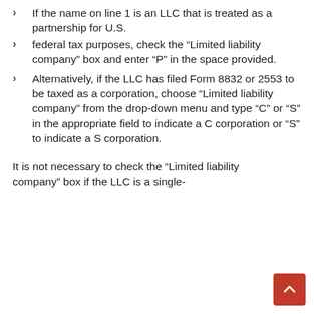If the name on line 1 is an LLC that is treated as a partnership for U.S.
federal tax purposes, check the “Limited liability company” box and enter “P” in the space provided.
Alternatively, if the LLC has filed Form 8832 or 2553 to be taxed as a corporation, choose “Limited liability company” from the drop-down menu and type “C” or “S” in the appropriate field to indicate a C corporation or “S” to indicate a S corporation.
It is not necessary to check the “Limited liability company” box if the LLC is a single-